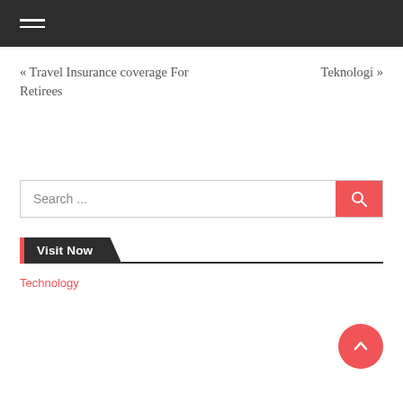≡
« Travel Insurance coverage For Retirees
Teknologi »
Search ...
Visit Now
Technology